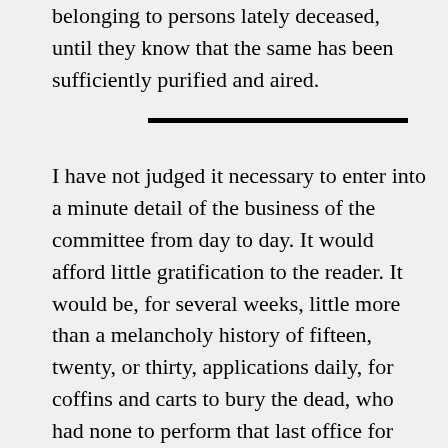belonging to persons lately deceased, until they know that the same has been sufficiently purified and aired.
I have not judged it necessary to enter into a minute detail of the business of the committee from day to day. It would afford little gratification to the reader. It would be, for several weeks, little more than a melancholy history of fifteen, twenty, or thirty, applications daily, for coffins and carts to bury the dead, who had none to perform that last office for them—or as many applications for the removal of the sick to Bushhill. There was little variety. The present day was as dreary as the past—and the prospect of the approaching one was equally gloomy. This was the state of things for a long time. But at length brighter prospects dawned. The disorder decreased in violence. The number of the sick diminished. New cases